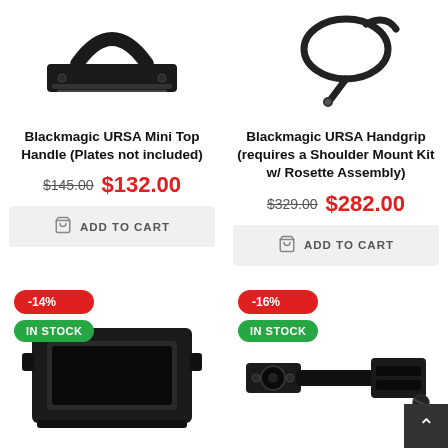[Figure (photo): Blackmagic URSA Mini Top Handle product photo - black camera top handle accessory]
[Figure (photo): Blackmagic URSA Handgrip product photo - black handgrip with cable]
Blackmagic URSA Mini Top Handle (Plates not included)
$145.00 $132.00
ADD TO CART
Blackmagic URSA Handgrip (requires a Shoulder Mount Kit w/ Rosette Assembly)
$329.00 $282.00
ADD TO CART
-14%
IN STOCK
-16%
IN STOCK
[Figure (photo): Black camera lens hood / viewfinder hood accessory product photo]
[Figure (photo): Black camera accessory / mount hardware product photo]